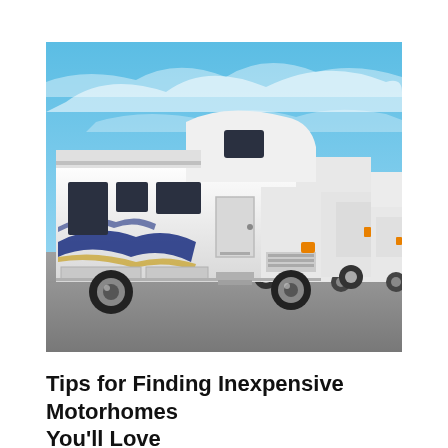[Figure (photo): Three white Class C motorhomes/RVs parked in a lot under a blue sky with wispy clouds. The closest RV is large, white with blue and gold decorative swoosh graphics on the side, featuring an over-cab sleeping area and chrome wheels.]
Tips for Finding Inexpensive Motorhomes You'll Love